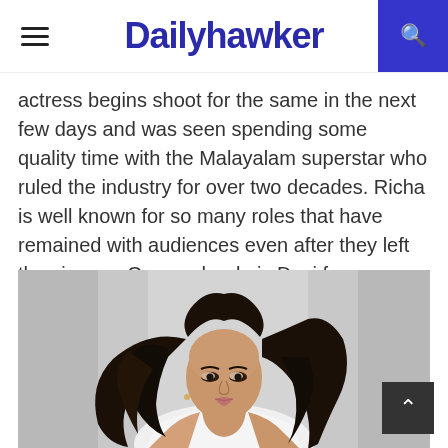Dailyhawker
actress begins shoot for the same in the next few days and was seen spending some quality time with the Malayalam superstar who ruled the industry for over two decades. Richa is well known for so many roles that have remained with audiences even after they left the cinema. One such role is Devi from Masaan.
[Figure (photo): Portrait photo of a young woman with long dark wavy hair, wearing a white off-shoulder top, looking at the camera against a grey background.]